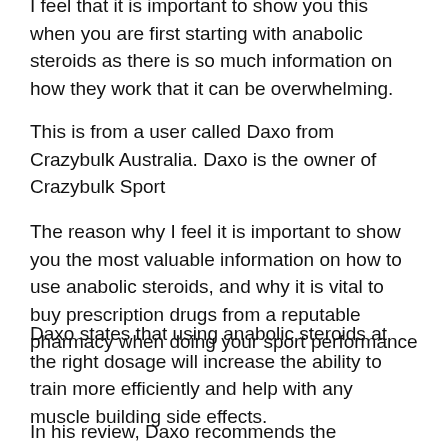I feel that it is important to show you this when you are first starting with anabolic steroids as there is so much information on how they work that it can be overwhelming.
This is from a user called Daxo from Crazybulk Australia. Daxo is the owner of Crazybulk Sport
The reason why I feel it is important to show you the most valuable information on how to use anabolic steroids, and why it is vital to buy prescription drugs from a reputable pharmacy when doing your sport performance
Daxo states that using anabolic steroids at the right dosage will increase the ability to train more efficiently and help with any muscle building side effects.
In his review, Daxo recommends the